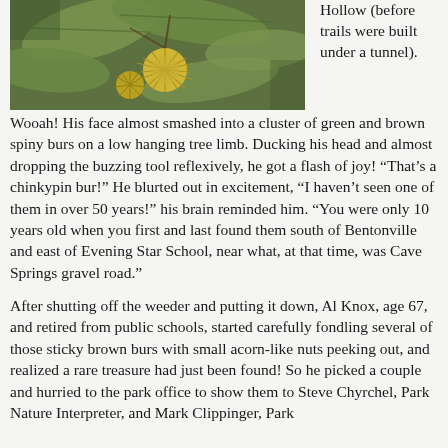[Figure (photo): Close-up photo of green and yellow spiny chinkypin burs hanging on tree branches with large green leaves in the background.]
Hollow (before trails were built under a tunnel).  Wooah! His face almost smashed into a cluster of green and brown spiny burs on a low hanging tree limb. Ducking his head and almost dropping the buzzing tool reflexively, he got a flash of joy! “That’s a chinkypin bur!” He blurted out in excitement, “I haven’t seen one of them in over 50 years!” his brain reminded him. “You were only 10 years old when you first and last found them south of Bentonville and east of Evening Star School, near what, at that time, was Cave Springs gravel road.”
After shutting off the weeder and putting it down, Al Knox, age 67, and retired from public schools, started carefully fondling several of those sticky brown burs with small acorn-like nuts peeking out, and realized a rare treasure had just been found!  So he picked a couple and hurried to the park office to show them to Steve Chyrchel, Park Nature Interpreter, and Mark Clippinger, Park